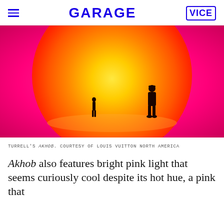GARAGE | VICE
[Figure (photo): Two silhouetted figures standing inside a large glowing orange spherical light installation against a vibrant pink background. The artwork is James Turrell's Akhob.]
TURRELL'S AKHOB. COURTESY OF LOUIS VUITTON NORTH AMERICA
Akhob also features bright pink light that seems curiously cool despite its hot hue, a pink that